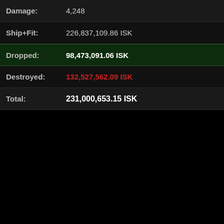| Label | Value |
| --- | --- |
| Damage: | 4,248 |
| Ship+Fit: | 226,837,109.86 ISK |
| Dropped: | 98,473,091.06 ISK |
| Destroyed: | 132,527,562.09 ISK |
| Total: | 231,000,653.15 ISK |